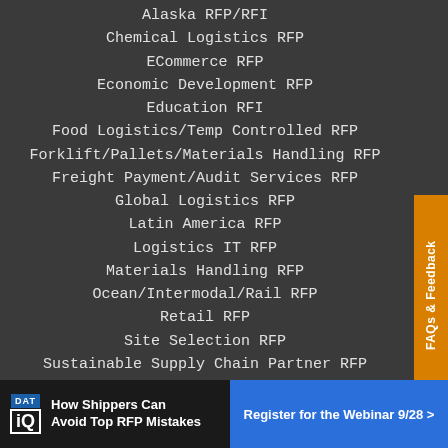Alaska RFP/RFI
Chemical Logistics RFP
ECommerce RFP
Economic Development RFP
Education RFI
Food Logistics/Temp Controlled RFP
Forklift/Pallets/Materials Handling RFP
Freight Payment/Audit Services RFP
Global Logistics RFP
Latin America RFP
Logistics IT RFP
Materials Handling RFP
Ocean/Intermodal/Rail RFP
Retail RFP
Site Selection RFP
Sustainable Supply Chain Partner RFP
TMS RFP
Trucking RFP
WMS RFP
[Figure (infographic): FAQs & Feedback vertical tab on right side, orange background with white text rotated 90 degrees]
[Figure (infographic): DAT IQ advertisement banner: left dark section with DAT IQ logo and text 'How Shippers Can Avoid Top RFP Mistakes', right blue section with 'Register for the Webinar 9/28 >']